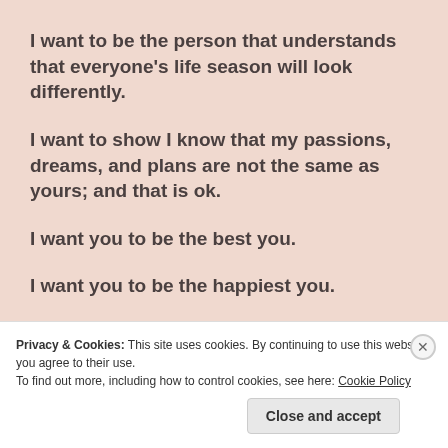I want to be the person that understands that everyone’s life season will look differently.
I want to show I know that my passions, dreams, and plans are not the same as yours; and that is ok.
I want you to be the best you.
I want you to be the happiest you.
I want you to be the most fulfilled you.
Privacy & Cookies: This site uses cookies. By continuing to use this website, you agree to their use.
To find out more, including how to control cookies, see here: Cookie Policy